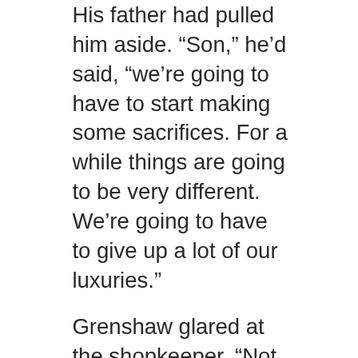His father had pulled him aside. “Son,” he’d said, “we’re going to have to start making some sacrifices. For a while things are going to be very different. We’re going to have to give up a lot of our luxuries.”
Grenshaw glared at the shopkeeper. “Not everybody liked the Revolution.”
The shopkeeper looked up from his keypad. “I have a son, Mr. Grenshaw,” he began.